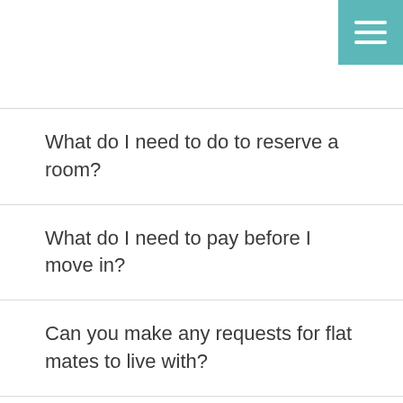[Figure (other): Teal hamburger menu button in top-right corner with three white horizontal lines]
What do I need to do to reserve a room?
What do I need to pay before I move in?
Can you make any requests for flat mates to live with?
6 runs per day to Griffith during school days